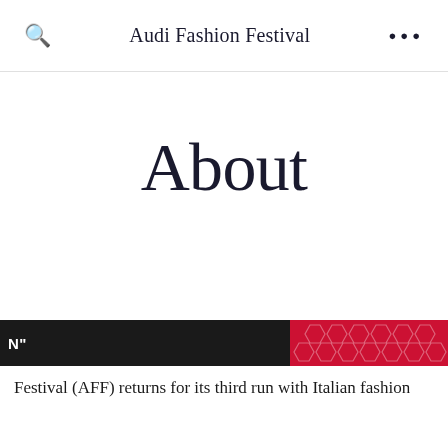Audi Fashion Festival
About
[Figure (screenshot): A banner strip with a black section on the left containing partial text 'N"' in white, and a red section on the right with a hexagonal honeycomb pattern overlay.]
Festival (AFF) returns for its third run with Italian fashion